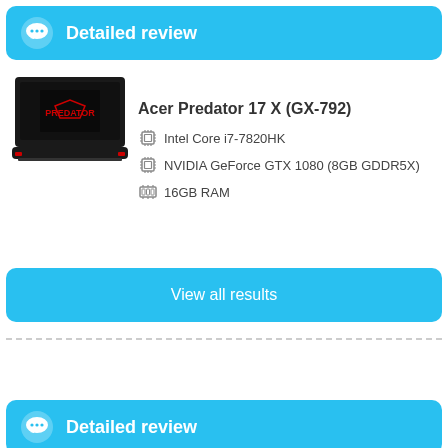Detailed review
Acer Predator 17 X (GX-792)
Intel Core i7-7820HK
NVIDIA GeForce GTX 1080 (8GB GDDR5X)
16GB RAM
Detailed review
View all results